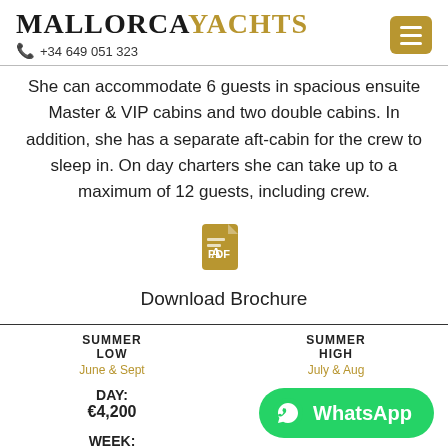MALLORCAYACHTS +34 649 051 323
She can accommodate 6 guests in spacious ensuite Master & VIP cabins and two double cabins. In addition, she has a separate aft-cabin for the crew to sleep in. On day charters she can take up to a maximum of 12 guests, including crew.
[Figure (illustration): Gold PDF file icon]
Download Brochure
| SUMMER LOW | SUMMER HIGH |
| --- | --- |
| June & Sept | July & Aug |
| DAY:
€4,200 | DAY:
€4,500 |
| WEEK:
€27,500 |  |
| WINTER | WINTER |